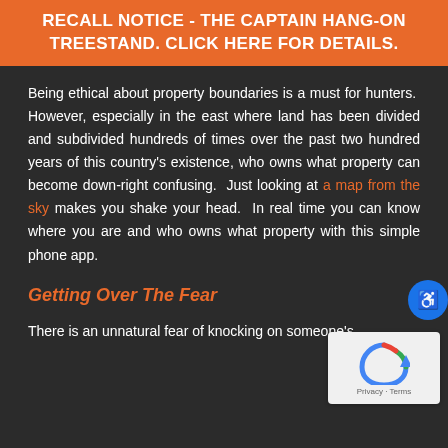RECALL NOTICE - THE CAPTAIN HANG-ON TREESTAND. CLICK HERE FOR DETAILS.
Being ethical about property boundaries is a must for hunters. However, especially in the east where land has been divided and subdivided hundreds of times over the past two hundred years of this country's existence, who owns what property can become down-right confusing. Just looking at a map from the sky makes you shake your head. In real time you can know where you are and who owns what property with this simple phone app.
Getting Over The Fear
There is an unnatural fear of knocking on someone's